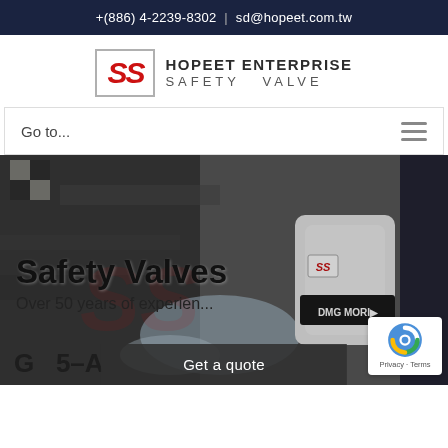+(886) 4-2239-8302  |  sd@hopeet.com.tw
[Figure (logo): Hopeet Enterprise Safety Valve logo with SS letters in red italic inside a grey border box, followed by company name text]
Go to...
[Figure (photo): Industrial machining scene with coolant spray and a white safety valve component with Hopeet Enterprise Safety Valve and DMG MORI branding, overlaid with text 'Safety Valves' and 'Over 50 years of experience' and partial text 'G 5-A' at the bottom]
Get a quote